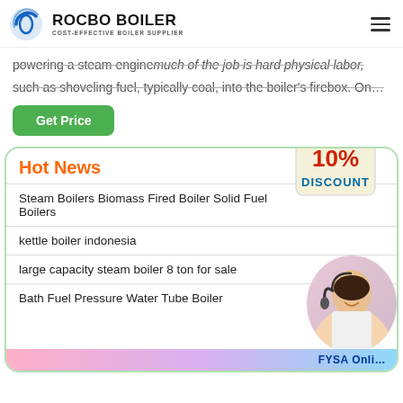[Figure (logo): Rocbo Boiler logo with blue crescent icon and text 'ROCBO BOILER / COST-EFFECTIVE BOILER SUPPLIER']
powering a steam enginemuch of the job is hard physical labor, such as shoveling fuel, typically coal, into the boiler's firebox. On…
Get Price
Hot News
[Figure (illustration): 10% Discount badge sign hanging from a string]
Steam Boilers Biomass Fired Boiler Solid Fuel Boilers
kettle boiler indonesia
large capacity steam boiler 8 ton for sale
Bath Fuel Pressure Water Tube Boiler
[Figure (photo): Customer service representative woman with headset smiling]
FYSA Onli...